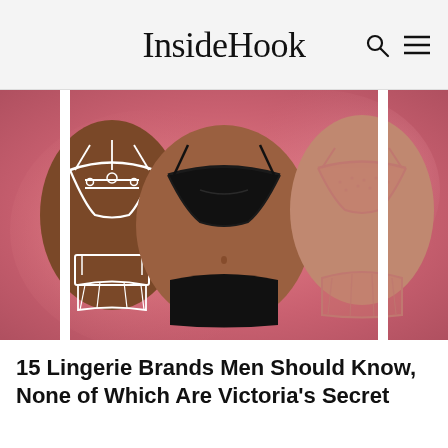InsideHook
[Figure (photo): Three women modeling lingerie against a pink background. Left model wears white strappy lace lingerie set. Center model wears a black bra and underwear set. Right model wears a pink/salmon colored sheer bra and underwear set.]
15 Lingerie Brands Men Should Know, None of Which Are Victoria's Secret